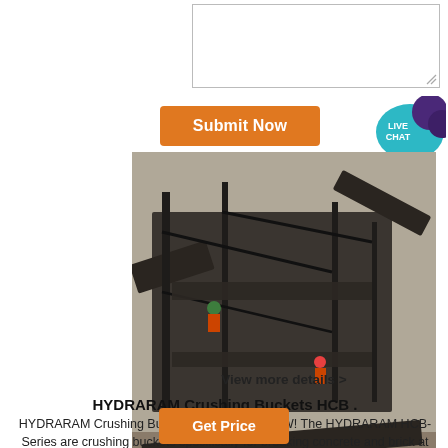[Figure (screenshot): White textarea input box with resize handle at top portion of page]
Submit Now
[Figure (illustration): LIVE CHAT bubble icon in teal/purple colors]
[Figure (photo): Aerial view of large industrial crushing/mining equipment machinery at a jobsite]
View more details >
HYDRARAM Crushing Buckets HCB .
HYDRARAM Crushing Buckets HCB-Series NEW! The HYDRARAM HCB-Series are crushing buckets specifically for breaking concrete and brick at the jobsite, and is ...
Get Price